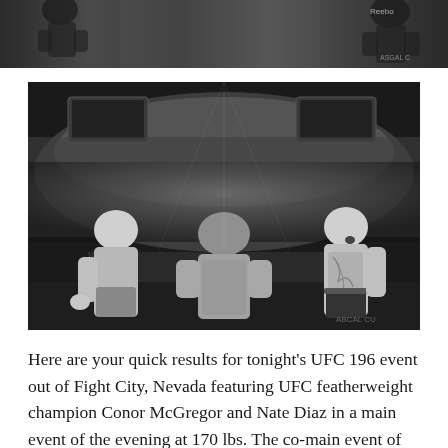[Figure (photo): Black and white strip photo showing UFC fighters/athletes at top of page]
[Figure (photo): Black and white photo of two fighters facing each other on stage with a large arena crowd in background, a referee or official standing between them with back to camera. Watermark 'ABCAL CU' visible at bottom right.]
Here are your quick results for tonight's UFC 196 event out of Fight City, Nevada featuring UFC featherweight champion Conor McGregor and Nate Diaz in a main event of the evening at 170 lbs. The co-main event of the evening features undefeated Holly Holm and Miesha Tate in a clash for the most coveted women's mixed